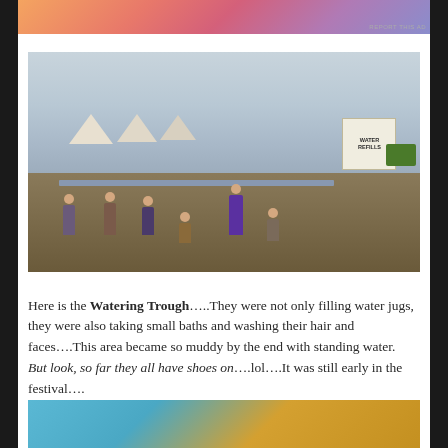[Figure (photo): Advertisement banner with gradient colors from orange to pink to purple]
[Figure (photo): Outdoor music festival scene showing people at a watering trough station. Festivalgoers are filling water jugs and washing up. White event tents visible in background, a 'Water Refills' sign on the right, and a green utility vehicle. Ground is muddy dirt/gravel.]
Here is the Watering Trough…..They were not only filling water jugs, they were also taking small baths and washing their hair and faces….This area became so muddy by the end with standing water.  But look, so far they all have shoes on….lol….It was still early in the festival….
[Figure (photo): Partial bottom image showing blue sky and geometric angular shapes in orange/yellow tones]